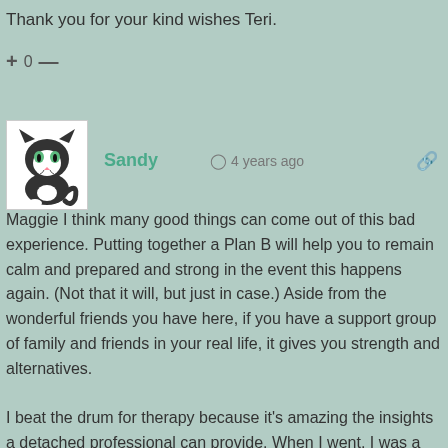Thank you for your kind wishes Teri.
+ 0 —
[Figure (illustration): Avatar image of a black and white cartoon cat with green eyes]
Sandy  🕐 4 years ago
Maggie I think many good things can come out of this bad experience. Putting together a Plan B will help you to remain calm and prepared and strong in the event this happens again. (Not that it will, but just in case.) Aside from the wonderful friends you have here, if you have a support group of family and friends in your real life, it gives you strength and alternatives.

I beat the drum for therapy because it's amazing the insights a detached professional can provide. When I went, I was a skeptic, but came out a believer. I hope that Attila will go, but if not, I'd encourage you to go on your own.

I have a cousin who lived in BC for several decades with a guy she loved. They never married. The relationship, all be it never sanctioned